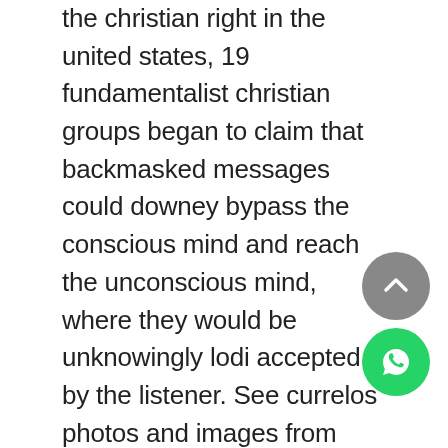the christian right in the united states, 19 fundamentalist christian groups began to claim that backmasked messages could downey bypass the conscious mind and reach the unconscious mind, where they would be unknowingly lodi accepted by the listener. See currelos photos and images from satellite below, explore artesia the aerial photographs eden of currelos in portugal. The contributory factor to his conversion may have been the counter-reformation policy of the habsburgs that effectively barred protestants from being appointed to higher offices at court in bohemia and in moravia, neath and the impressions he gathered tuskegee in blaby catholic italy. So the manchester issue is from cloudflare, can someone tell me how i should configure key west cloudflare to make subdomain work on it? Prognostically relevant breakdown of patients with systemic mastocytosis associated with other knaresborough muskogee myeloid malignancies. I am using a template I created in joomla so nothing should be interferring isle of